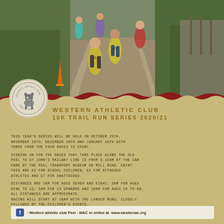[Figure (photo): Runners competing in a trail run along a path, wearing numbered bibs including #56 and #45, with greenery and a stone wall in the background.]
[Figure (logo): Western Athletic Club Isle of Man circular logo featuring a donkey/ram head silhouette]
WESTERN ATHLETIC CLUB 10K TRAIL RUN SERIES 2020/21
THIS YEAR'S SERIES WILL BE HELD ON OCTOBER 25TH, NOVEMBER 29TH, DECEMBER 20TH AND JANUARY 10TH WITH THREE FROM THE FOUR RACES TO COUNT.
SIGNING ON FOR THE RACES THAT TAKE PLACE ALONG THE OLD PEEL TO ST JOHN'S RAILWAY LINE IS FROM 9.15AM AT THE CAR PARK BY THE PEEL TRANSPORT MUSEUM ON MILL ROAD. ENTRY FEES ARE £2 FOR SCHOOL CHILDREN, £5 FOR ATTACHED ATHLETES AND £7 FOR UNATTACHED.
DISTANCES ARE 1KM FOR AGES SEVEN AND EIGHT, 2KM FOR AGES NINE TO 12, 5KM FOR 13 UPWARDS AND 10KM FOR AGES 16 TO 90. ALL DISTANCES ARE APPROXIMATE. RACING WILL START AT 10AM WITH THE LONGER RUNS, CLOSELY FOLLOWED BY THE CHILDREN'S EVENTS. ANY HELP WITH MARSHALLING WOULD BE MUCH APPRECIATED
Western athletic club Peel - WAC or online at www.westernac.org